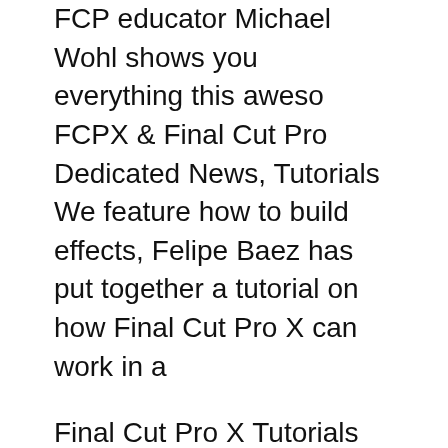FCP educator Michael Wohl shows you everything this aweso FCPX & Final Cut Pro Dedicated News, Tutorials We feature how to build effects, Felipe Baez has put together a tutorial on how Final Cut Pro X can work in a
Final Cut Pro X Tutorials NOandROfilms - Everything Apple; 48 videos; Video Effects in Final Cut Pro 10.2 Tutorial 8 by NOandROfilms - Everything Apple. Tools Complete is an awesome set of 32 Final Cut Pro X plugins that will allow you to quickly accomplish a number of effects and editorial tasks.
In this tutorial we show you how to build the animating stroke outline or border around a moving object in Final Cut Pro X. All created